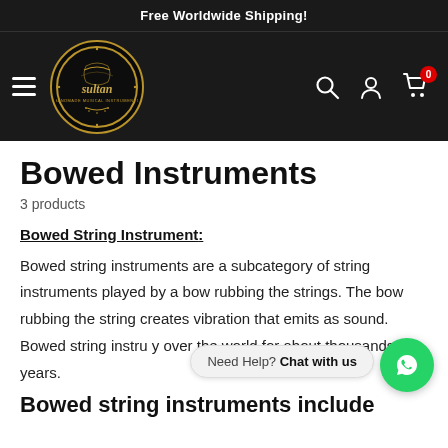Free Worldwide Shipping!
[Figure (logo): Sultan Handmade Musical Instruments circular logo with gold border on black background]
Bowed Instruments
3 products
Bowed String Instrument:
Bowed string instruments are a subcategory of string instruments played by a bow rubbing the strings. The bow rubbing the string creates vibration that emits as sound. Bowed string instr... y... over the world for about thousands of years.
Need Help? Chat with us
Bowed string instruments include